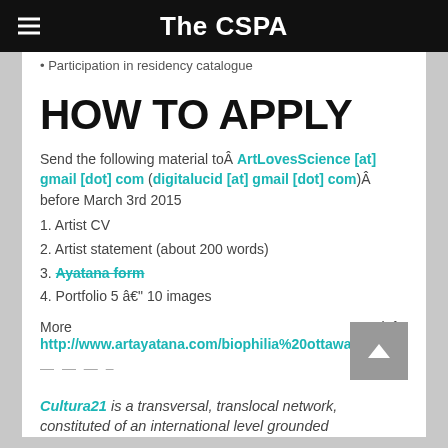The CSPA
Participation in residency catalogue
HOW TO APPLY
Send the following material toÂ ArtLovesScience [at] gmail [dot] com (digitalucid [at] gmail [dot] com)Â before March 3rd 2015
1. Artist CV
2. Artist statement (about 200 words)
3. Ayatana form
4. Portfolio 5 â€“ 10 images
More info: http://www.artayatana.com/biophilia%20ottawa.html
— — — –
Cultura21 is a transversal, translocal network, constituted of an international level grounded